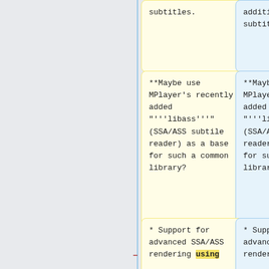subtitles.
additional subtitles.
**Maybe use MPlayer's recently added "'''libass''" (SSA/ASS subtile reader) as a base for such a common library?
**Maybe use MPlayer's recently added "'''libass''" (SSA/ASS subtile reader) as a base for such a common library?
* Support for advanced SSA/ASS rendering using
* Support for advanced SSA/ASS rendering